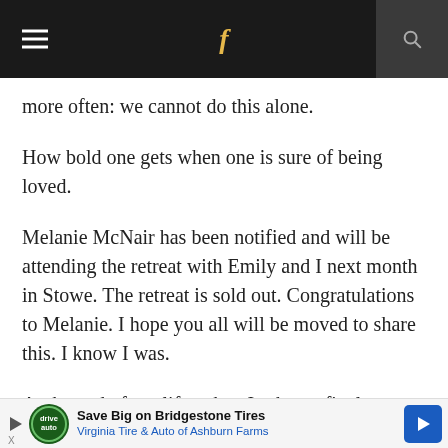Navigation bar with hamburger menu, Facebook icon, search icon
more often: we cannot do this alone.
How bold one gets when one is sure of being loved.
Melanie McNair has been notified and will be attending the retreat with Emily and I next month in Stowe. The retreat is sold out. Congratulations to Melanie. I hope you all will be moved to share this. I know I was.
At the end of my life, when I ask one final,
[Figure (screenshot): Advertisement banner: Save Big on Bridgestone Tires - Virginia Tire & Auto of Ashburn Farms]
X